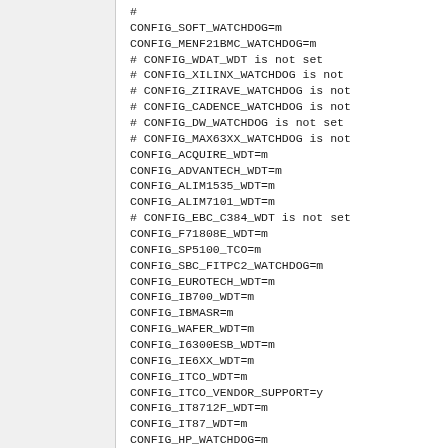#
CONFIG_SOFT_WATCHDOG=m
CONFIG_MENF21BMC_WATCHDOG=m
# CONFIG_WDAT_WDT is not set
# CONFIG_XILINX_WATCHDOG is not
# CONFIG_ZIIRAVE_WATCHDOG is not
# CONFIG_CADENCE_WATCHDOG is not
# CONFIG_DW_WATCHDOG is not set
# CONFIG_MAX63XX_WATCHDOG is not
CONFIG_ACQUIRE_WDT=m
CONFIG_ADVANTECH_WDT=m
CONFIG_ALIM1535_WDT=m
CONFIG_ALIM7101_WDT=m
# CONFIG_EBC_C384_WDT is not set
CONFIG_F71808E_WDT=m
CONFIG_SP5100_TCO=m
CONFIG_SBC_FITPC2_WATCHDOG=m
CONFIG_EUROTECH_WDT=m
CONFIG_IB700_WDT=m
CONFIG_IBMASR=m
CONFIG_WAFER_WDT=m
CONFIG_I6300ESB_WDT=m
CONFIG_IE6XX_WDT=m
CONFIG_ITCO_WDT=m
CONFIG_ITCO_VENDOR_SUPPORT=y
CONFIG_IT8712F_WDT=m
CONFIG_IT87_WDT=m
CONFIG_HP_WATCHDOG=m
CONFIG_HPWDT_NMI_DECODING=y
CONFIG_KEMPLD_WDT=m
CONFIG_SC1200_WDT=m
CONFIG_PC87413_WDT=m